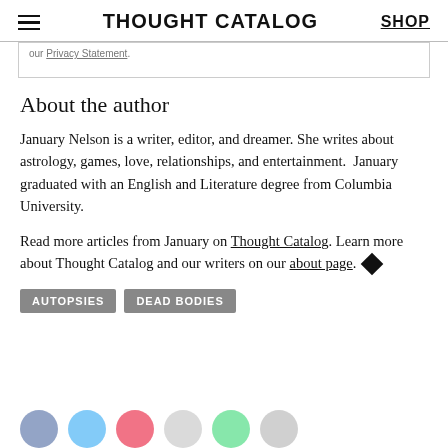THOUGHT CATALOG | SHOP
our Privacy Statement.
About the author
January Nelson is a writer, editor, and dreamer. She writes about astrology, games, love, relationships, and entertainment. January graduated with an English and Literature degree from Columbia University.
Read more articles from January on Thought Catalog. Learn more about Thought Catalog and our writers on our about page.
AUTOPSIES
DEAD BODIES